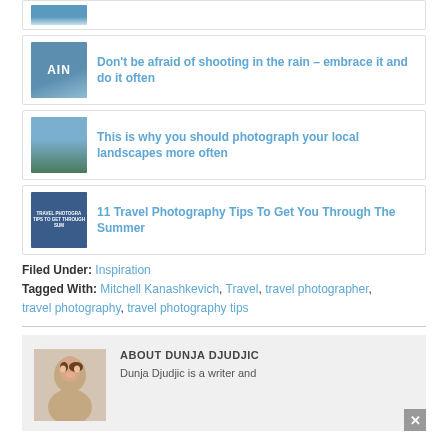Don't be afraid of shooting in the rain – embrace it and do it often
This is why you should photograph your local landscapes more often
11 Travel Photography Tips To Get You Through The Summer
Filed Under: Inspiration
Tagged With: Mitchell Kanashkevich, Travel, travel photographer, travel photography, travel photography tips
ABOUT DUNJA DJUDJIC
Dunja Djudjic is a writer and